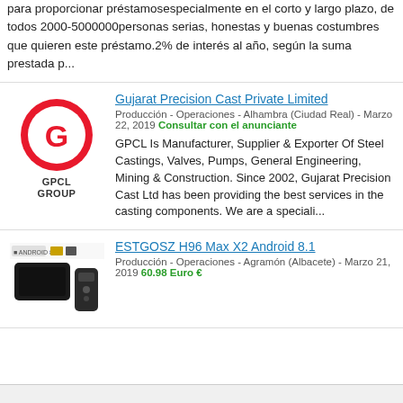para proporcionar préstamosespecialmente en el corto y largo plazo, de todos 2000-5000000personas serias, honestas y buenas costumbres que quieren este préstamo.2% de interés al año, según la suma prestada p...
Gujarat Precision Cast Private Limited
Producción - Operaciones - Alhambra (Ciudad Real) - Marzo 22, 2019 Consultar con el anunciante
[Figure (logo): GPCL Group circular red logo with a stylized G letter, text GPCL GROUP below]
GPCL Is Manufacturer, Supplier & Exporter Of Steel Castings, Valves, Pumps, General Engineering, Mining & Construction. Since 2002, Gujarat Precision Cast Ltd has been providing the best services in the casting components. We are a speciali...
ESTGOSZ H96 Max X2 Android 8.1
Producción - Operaciones - Agramón (Albacete) - Marzo 21, 2019 60.98 Euro €
[Figure (photo): Android TV box device with remote control, small product image]